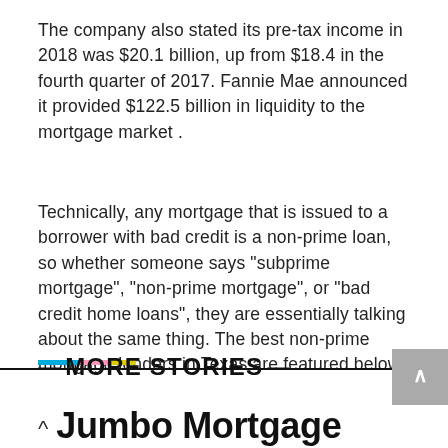The company also stated its pre-tax income in 2018 was $20.1 billion, up from $18.4 in the fourth quarter of 2017. Fannie Mae announced it provided $122.5 billion in liquidity to the mortgage market .
Technically, any mortgage that is issued to a borrower with bad credit is a non-prime loan, so whether someone says "subprime mortgage", "non-prime mortgage", or "bad credit home loans", they are essentially talking about the same thing. The best non-prime mortgage lenders in Texas are featured below.
MORE STORIES
Jumbo Mortgage